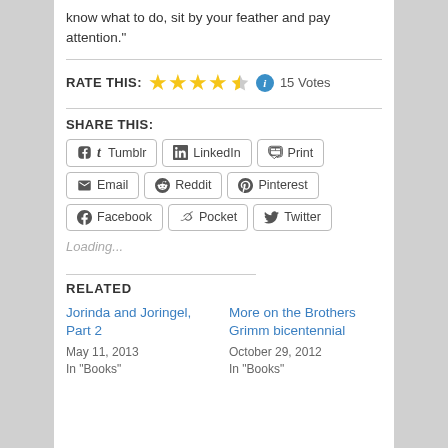know what to do, sit by your feather and pay attention."
RATE THIS: ★★★★½ ℹ 15 Votes
SHARE THIS:
Tumblr
LinkedIn
Print
Email
Reddit
Pinterest
Facebook
Pocket
Twitter
Loading...
RELATED
Jorinda and Joringel, Part 2
May 11, 2013
In "Books"
More on the Brothers Grimm bicentennial
October 29, 2012
In "Books"